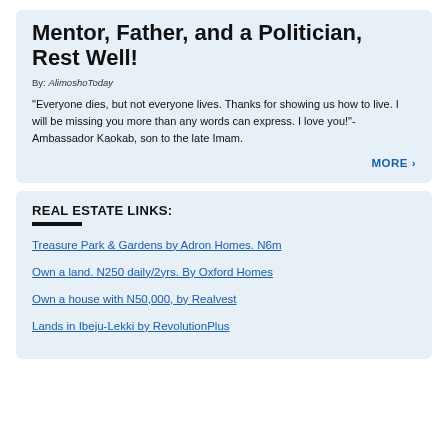Mentor, Father, and a Politician, Rest Well!
By: AlimoshoToday
"Everyone dies, but not everyone lives. Thanks for showing us how to live. I will be missing you more than any words can express. I love you!"- Ambassador Kaokab, son to the late Imam.
MORE >
REAL ESTATE LINKS:
Treasure Park & Gardens by Adron Homes. N6m
Own a land. N250 daily/2yrs. By Oxford Homes
Own a house with N50,000, by Realvest
Lands in Ibeju-Lekki by RevolutionPlus